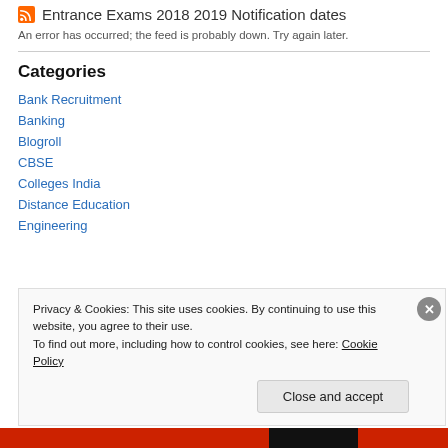Entrance Exams 2018 2019 Notification dates
An error has occurred; the feed is probably down. Try again later.
Categories
Bank Recruitment
Banking
Blogroll
CBSE
Colleges India
Distance Education
Engineering
Privacy & Cookies: This site uses cookies. By continuing to use this website, you agree to their use.
To find out more, including how to control cookies, see here: Cookie Policy
Close and accept